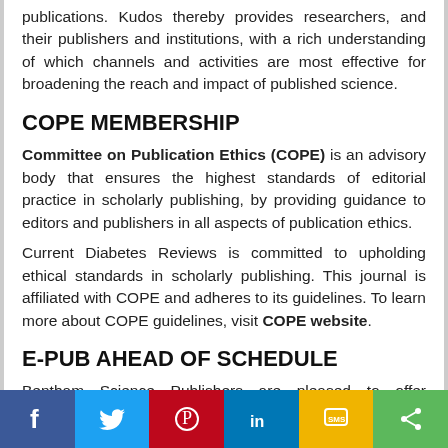publications. Kudos thereby provides researchers, and their publishers and institutions, with a rich understanding of which channels and activities are most effective for broadening the reach and impact of published science.
COPE MEMBERSHIP
Committee on Publication Ethics (COPE) is an advisory body that ensures the highest standards of editorial practice in scholarly publishing, by providing guidance to editors and publishers in all aspects of publication ethics.
Current Diabetes Reviews is committed to upholding ethical standards in scholarly publishing. This journal is affiliated with COPE and adheres to its guidelines. To learn more about COPE guidelines, visit COPE website.
E-PUB AHEAD OF SCHEDULE
Bentham Science Publishers are pleased to offer electronic publication of accepted papers prior to scheduled publication. These peer-reviewed papers can be cited using the date of access and the unique DOI number. Any final changes in manuscripts will be made at the time of print publication and will be reflected in the final electronic version of the issue. Articles ahead of
[Figure (infographic): Social sharing bar with Facebook, Twitter, Pinterest, LinkedIn, SMS, and Share buttons]